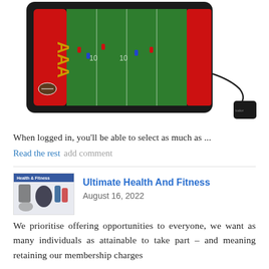[Figure (photo): Electric football board game with red and black frame, green field with yard markings, small player figures, and a black wired remote/buzzer attached by cord]
When logged in, you'll be able to select as much as ...
Read the rest add comment
[Figure (photo): Thumbnail image showing health and fitness products including bottles, a scale, and other fitness equipment with text 'Health & Fitness']
Ultimate Health And Fitness
August 16, 2022
We prioritise offering opportunities to everyone, we want as many individuals as attainable to take part – and meaning retaining our membership charges